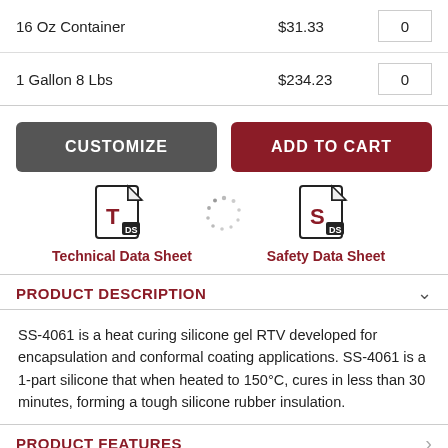| Product | Price | Qty |
| --- | --- | --- |
| 16 Oz Container | $31.33 | 0 |
| 1 Gallon 8 Lbs | $234.23 | 0 |
CUSTOMIZE
ADD TO CART
[Figure (other): Technical Data Sheet document icon with T and DS labels]
Technical Data Sheet
[Figure (other): Safety Data Sheet document icon with S and DS labels]
Safety Data Sheet
PRODUCT DESCRIPTION
SS-4061 is a heat curing silicone gel RTV developed for encapsulation and conformal coating applications. SS-4061 is a 1-part silicone that when heated to 150°C, cures in less than 30 minutes, forming a tough silicone rubber insulation.
PRODUCT FEATURES